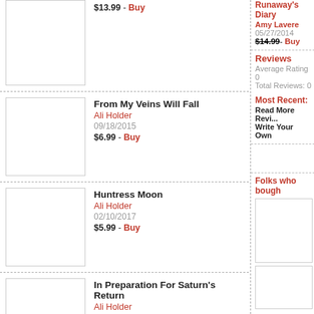$13.99 - Buy
From My Veins Will Fall
Ali Holder
09/18/2015
$6.99 - Buy
Huntress Moon
Ali Holder
02/10/2017
$5.99 - Buy
In Preparation For Saturn's Return
Ali Holder
08/27/2013
$10.99 - Buy
Runaway's Diary
Amy Lavere
05/27/2014
$14.99 Buy
Reviews
Average Rating
0
Total Reviews: 0
Most Recent:
Read More Revi...
Write Your Own
Folks who bough